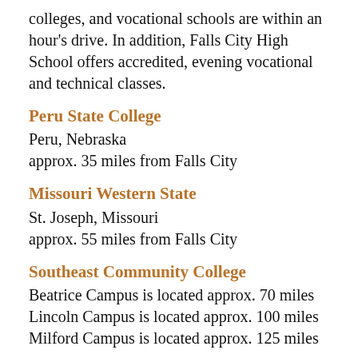colleges, and vocational schools are within an hour's drive. In addition, Falls City High School offers accredited, evening vocational and technical classes.
Peru State College
Peru, Nebraska
approx. 35 miles from Falls City
Missouri Western State
St. Joseph, Missouri
approx. 55 miles from Falls City
Southeast Community College
Beatrice Campus is located approx. 70 miles
Lincoln Campus is located approx. 100 miles
Milford Campus is located approx. 125 miles
Northwest Missouri State